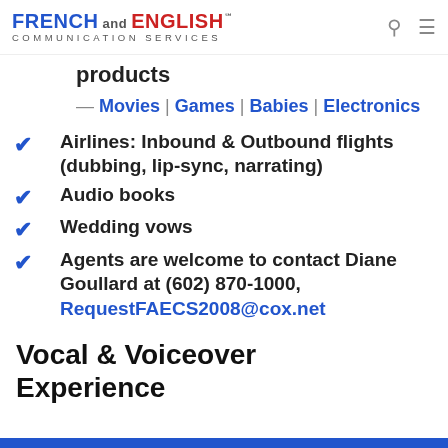FRENCH and ENGLISH℠ COMMUNICATION SERVICES
products
— Movies | Games | Babies | Electronics
Airlines: Inbound & Outbound flights (dubbing, lip-sync, narrating)
Audio books
Wedding vows
Agents are welcome to contact Diane Goullard at (602) 870-1000, RequestFAECS2008@cox.net
Vocal & Voiceover Experience